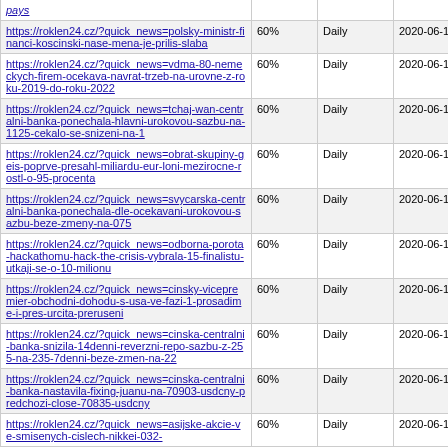| URL | Percentage | Frequency | Date |
| --- | --- | --- | --- |
| pays |  |  |  |
| https://roklen24.cz/?quick_news=polsky-ministr-financi-koscinski-nase-mena-je-prilis-slaba | 60% | Daily | 2020-06-18 06:45 |
| https://roklen24.cz/?quick_news=vdma-80-nemeckych-firem-ocekava-navrat-trzeb-na-urovne-z-roku-2019-do-roku-2022 | 60% | Daily | 2020-06-18 06:37 |
| https://roklen24.cz/?quick_news=tchaj-wan-centralni-banka-ponechala-hlavni-urokovou-sazbu-na-1125-cekalo-se-snizeni-na-1 | 60% | Daily | 2020-06-18 06:30 |
| https://roklen24.cz/?quick_news=obrat-skupiny-geis-poprve-presahl-miliardu-eur-loni-mezirocne-rostl-o-95-procenta | 60% | Daily | 2020-06-18 06:28 |
| https://roklen24.cz/?quick_news=svycarska-centralni-banka-ponechala-dle-ocekavani-urokovou-sazbu-beze-zmeny-na-075 | 60% | Daily | 2020-06-18 06:06 |
| https://roklen24.cz/?quick_news=odborna-porota-hackathomu-hack-the-crisis-vybrala-15-finalistu-utkaji-se-o-10-milionu | 60% | Daily | 2020-06-18 05:35 |
| https://roklen24.cz/?quick_news=cinsky-vicepremier-obchodni-dohodu-s-usa-ve-fazi-1-prosadime-i-pres-urcita-preruseni | 60% | Daily | 2020-06-18 03:40 |
| https://roklen24.cz/?quick_news=cinska-centralni-banka-snizila-14denni-reverzni-repo-sazbu-z-255-na-235-7denni-beze-zmen-na-22 | 60% | Daily | 2020-06-18 03:39 |
| https://roklen24.cz/?quick_news=cinska-centralni-banka-nastavila-fixing-juanu-na-70903-usdcny-predchozi-close-70835-usdcny | 60% | Daily | 2020-06-18 03:38 |
| https://roklen24.cz/?quick_news=asijske-akcie-ve-smisenych-cislech-nikkei-032-... | 60% | Daily | 2020-06-18 03:34 |